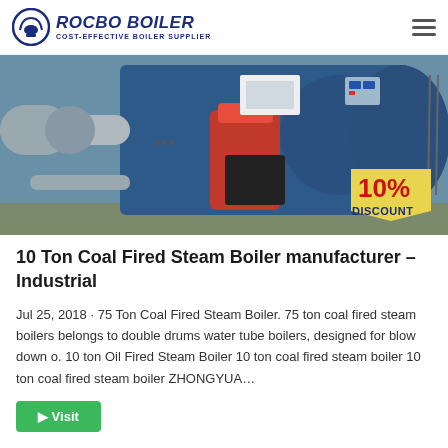ROCBO BOILER — COST-EFFECTIVE BOILER SUPPLIER
[Figure (photo): Industrial boiler room with large blue cylindrical boiler, red burner unit, duct work, and a 10% DISCOUNT badge overlaid in bottom right corner]
10 Ton Coal Fired Steam Boiler manufacturer – Industrial
Jul 25, 2018 · 75 Ton Coal Fired Steam Boiler. 75 ton coal fired steam boilers belongs to double drums water tube boilers, designed for blow down o. 10 ton Oil Fired Steam Boiler 10 ton coal fired steam boiler 10 ton coal fired steam boiler ZHONGYUA…